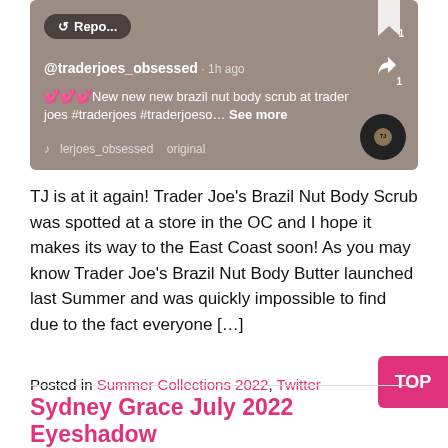[Figure (screenshot): TikTok app screenshot showing a post by @traderjoes_obsessed, posted 1h ago, with pink heart emojis and text 'New new new brazil nut body scrub at trader joes #traderjoes #traderjoeso... See more', music line 'lerjoes_obsessed original', share icon, bookmark icon, vinyl disc, and repost button.]
TJ is at it again! Trader Joe’s Brazil Nut Body Scrub was spotted at a store in the OC and I hope it makes its way to the East Coast soon! As you may know Trader Joe’s Brazil Nut Body Butter launched last Summer and was quickly impossible to find due to the fact everyone […]
Posted in Summer Collections 2022, Twitter
Sydney Grace July 2022 Eyeshadow